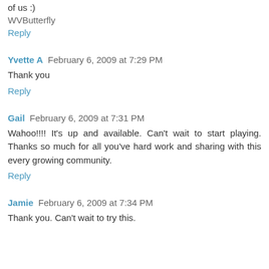of us :)
WVButterfly
Reply
Yvette A  February 6, 2009 at 7:29 PM
Thank you
Reply
Gail  February 6, 2009 at 7:31 PM
Wahoo!!!!  It's up and available.  Can't wait to start playing.  Thanks so much for all you've hard work and sharing with this every growing community.
Reply
Jamie  February 6, 2009 at 7:34 PM
Thank you. Can't wait to try this.